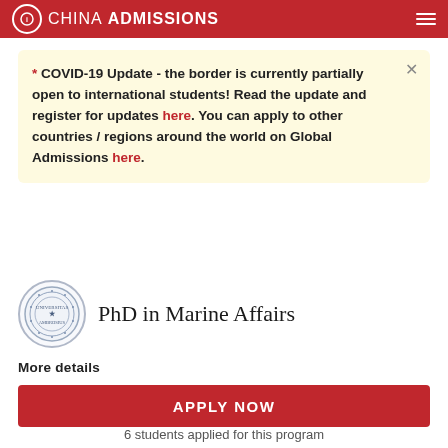CHINA ADMISSIONS
* COVID-19 Update - the border is currently partially open to international students! Read the update and register for updates here. You can apply to other countries / regions around the world on Global Admissions here.
PhD in Marine Affairs
More details
APPLY NOW
6 students applied for this program